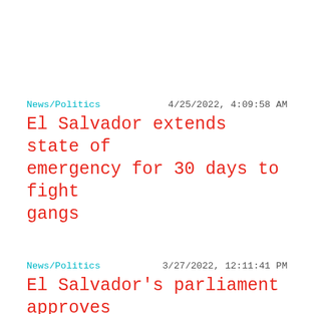News/Politics | 4/25/2022, 4:09:58 AM
El Salvador extends state of emergency for 30 days to fight gangs
News/Politics | 3/27/2022, 12:11:41 PM
El Salvador's parliament approves